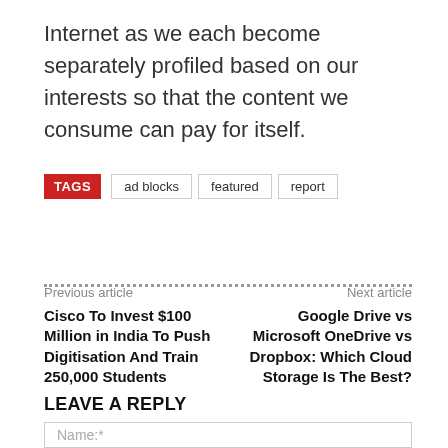Internet as we each become separately profiled based on our interests so that the content we consume can pay for itself.
TAGS  ad blocks  featured  report
Previous article
Cisco To Invest $100 Million in India To Push Digitisation And Train 250,000 Students
Next article
Google Drive vs Microsoft OneDrive vs Dropbox: Which Cloud Storage Is The Best?
LEAVE A REPLY
Name:*